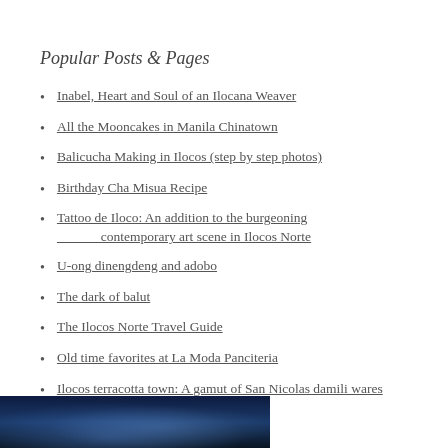Popular Posts & Pages
Inabel, Heart and Soul of an Ilocana Weaver
All the Mooncakes in Manila Chinatown
Balicucha Making in Ilocos (step by step photos)
Birthday Cha Misua Recipe
Tattoo de Iloco: An addition to the burgeoning contemporary art scene in Ilocos Norte
U-ong dinengdeng and adobo
The dark of balut
The Ilocos Norte Travel Guide
Old time favorites at La Moda Panciteria
Ilocos terracotta town: A gamut of San Nicolas damili wares
[Figure (photo): Dark blue image at bottom of page, appears to be a night or underwater scene with light rays]